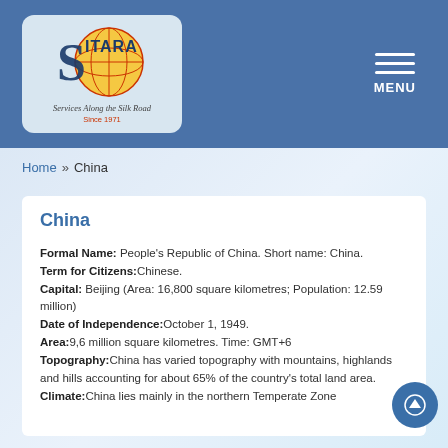[Figure (logo): SITARA logo with globe graphic and text 'Services Along the Silk Road Since 1971' inside a light blue rounded box, on a steel blue header bar with MENU button on the right]
MENU
Home » China
China
Formal Name: People's Republic of China. Short name: China. Term for Citizens:Chinese. Capital: Beijing (Area: 16,800 square kilometres; Population: 12.59 million) Date of Independence:October 1, 1949. Area:9,6 million square kilometres. Time: GMT+6 Topography:China has varied topography with mountains, highlands and hills accounting for about 65% of the country's total land area. Climate:China lies mainly in the northern Temperate Zone